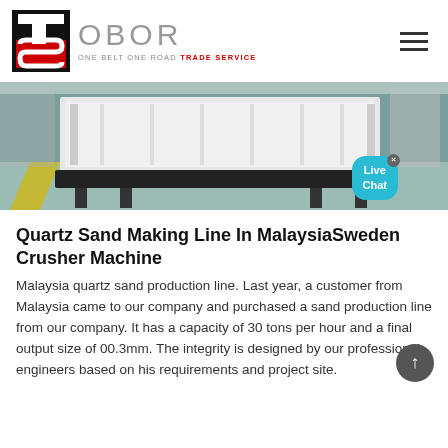[Figure (logo): OBOR Trade Service logo with red and black TS icon and grey OBOR text with tagline ONE BELT ONE ROAD TRADE SERVICE]
[Figure (photo): Industrial factory photo showing large white metal crusher machine equipment on a factory floor with yellow striped floor markings]
Quartz Sand Making Line In MalaysiaSweden Crusher Machine
Malaysia quartz sand production line. Last year, a customer from Malaysia came to our company and purchased a sand production line from our company. It has a capacity of 30 tons per hour and a final output size of 00.3mm. The integrity is designed by our professional engineers based on his requirements and project site.